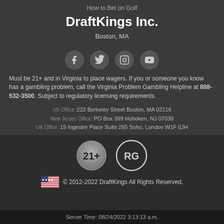How to Bet on Golf
DraftKings Inc.
Boston, MA
[Figure (illustration): Four social media icon circles: Facebook, Twitter, Instagram, YouTube]
Must be 21+ and in Virginia to place wagers.  If you or someone you know has a gambling problem, call the Virginia Problem Gambling Helpline at 888-532-3500.  Subject to regulatory licensing requirements.
US Office: 222 Berkeley Street Boston, MA 02116
New Jersey Office: PO Box 399 Hoboken, NJ 07030
UK Office: 15 Ingestre Place Suite 265 Soho, London W1F 0JH
[Figure (illustration): 21+ badge circle and RG (Responsible Gambling) circle badge]
© 2012-2022 DraftKings All Rights Reserved.
Server Time: 08/24/2022 3:13:13 a.m.